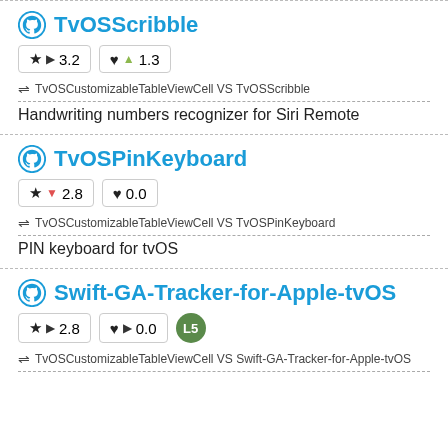TvOSScribble
★ ▶ 3.2   ♥ ▲ 1.3
⇌ TvOSCustomizableTableViewCell VS TvOSScribble
Handwriting numbers recognizer for Siri Remote
TvOSPinKeyboard
★ ▼ 2.8   ♥ 0.0
⇌ TvOSCustomizableTableViewCell VS TvOSPinKeyboard
PIN keyboard for tvOS
Swift-GA-Tracker-for-Apple-tvOS
★ ▶ 2.8   ♥ ▶ 0.0   L5
⇌ TvOSCustomizableTableViewCell VS Swift-GA-Tracker-for-Apple-tvOS